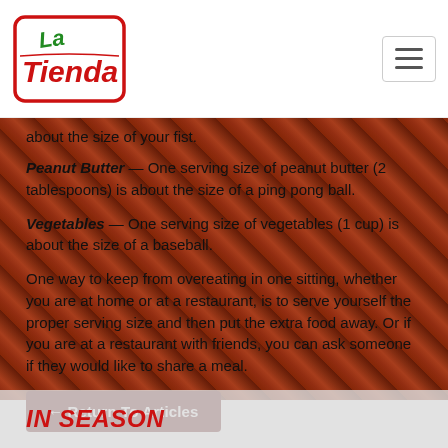[Figure (logo): La Tienda logo — red and green stylized text in a rounded rectangular border]
about the size of your fist.
Peanut Butter — One serving size of peanut butter (2 tablespoons) is about the size of a ping pong ball.
Vegetables — One serving size of vegetables (1 cup) is about the size of a baseball.
One way to keep from overeating in one sitting, whether you are at home or at a restaurant, is to serve yourself the proper serving size and then put the extra food away. Or if you are at a restaurant with friends, you can ask someone if they would like to share a meal.
← Return To Articles
IN SEASON